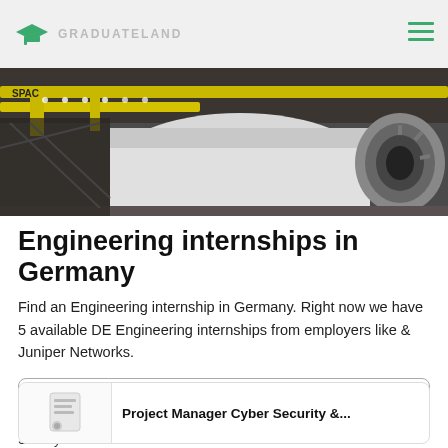GRADUATELAND
[Figure (photo): Industrial aerospace/engineering facility with yellow cranes, white rocket or fuselage, and jet engine visible in a large hangar setting]
Engineering internships in Germany
Find an Engineering internship in Germany. Right now we have 5 available DE Engineering internships from employers like & Juniper Networks.
Filters
Sort by newest
Project Manager Cyber Security &...